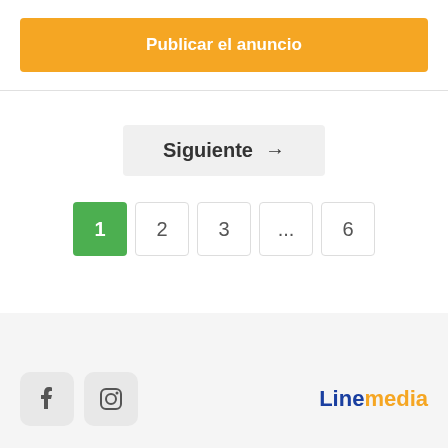Publicar el anuncio
Siguiente →
1  2  3  ...  6
[Figure (logo): Linemedia logo with blue 'Line' and orange 'media' text]
[Figure (other): Facebook and Instagram social media icons in rounded square containers]